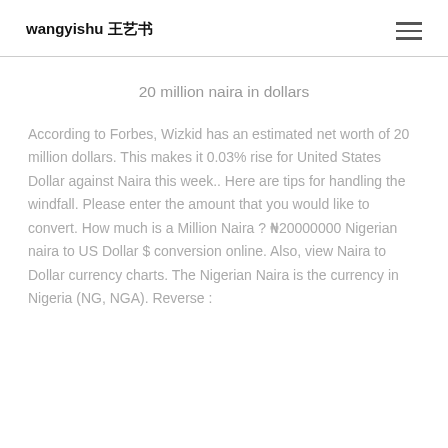wangyishu 王艺书
20 million naira in dollars
According to Forbes, Wizkid has an estimated net worth of 20 million dollars. This makes it 0.03% rise for United States Dollar against Naira this week.. Here are tips for handling the windfall. Please enter the amount that you would like to convert. How much is a Million Naira ? ₦20000000 Nigerian naira to US Dollar $ conversion online. Also, view Naira to Dollar currency charts. The Nigerian Naira is the currency in Nigeria (NG, NGA). Reverse :